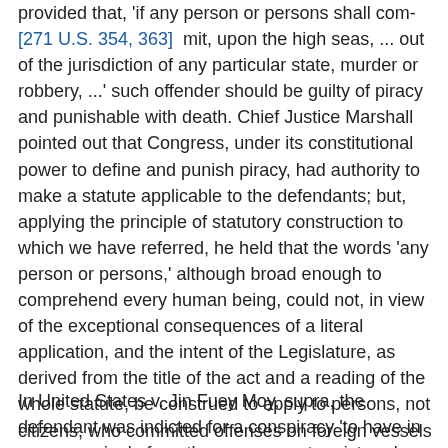provided that, 'if any person or persons shall com- [271 U.S. 354, 363] mit, upon the high seas, ... out of the jurisdiction of any particular state, murder or robbery, ...' such offender should be guilty of piracy and punishable with death. Chief Justice Marshall pointed out that Congress, under its constitutional power to define and punish piracy, had authority to make a statute applicable to the defendants; but, applying the principle of statutory construction to which we have referred, he held that the words 'any person or persons,' although broad enough to comprehend every human being, could not, in view of the exceptional consequences of a literal application, and the intent of the Legislature, as derived from the title of the act and a reading of the whole statute, be construed to apply to persons, not citizens, who committed offenses on foreign vessels on the high seas.
In United States v. Jin Fuey Moy, supra, the defendant was indicted for a conspiracy 'to have in ... possession' of another person, not registered, a quantity of opium, in